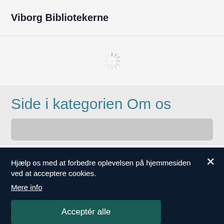Viborg Bibliotekerne
[Figure (other): Loading spinner icon]
Side i kategorien Om os
[Figure (other): Gray card placeholder rectangle]
Hjælp os med at forbedre oplevelsen på hjemmesiden ved at acceptere cookies.
Mere info
Acceptér alle